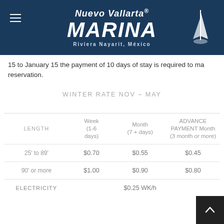Nuevo Vallarta Marina — Riviera Nayarit, México
15 to January 15 the payment of 10 days of stay is required to ma reservation.
WINTER RATE NOV – MAY
| LENGTH | Week (1-6 days) | Month (7 + days) | ADVANCE PAYMENT Month (3 month or more) |
| --- | --- | --- | --- |
| 25' to 89' | $0.70 | $0.55 | $0.45 |
| 90' or more | $1.00 | $0.90 | $0.80 |
| ELECTRICITY |  | $0.25 WK/h |  |